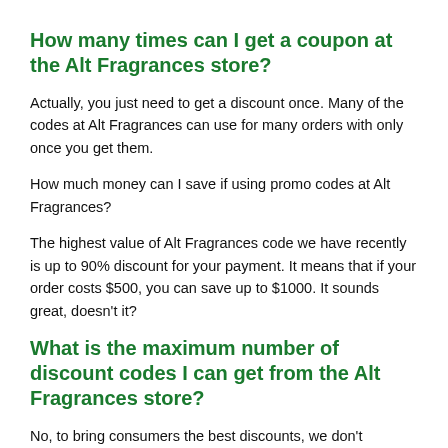How many times can I get a coupon at the Alt Fragrances store?
Actually, you just need to get a discount once. Many of the codes at Alt Fragrances can use for many orders with only once you get them.
How much money can I save if using promo codes at Alt Fragrances?
The highest value of Alt Fragrances code we have recently is up to 90% discount for your payment. It means that if your order costs $500, you can save up to $1000. It sounds great, doesn't it?
What is the maximum number of discount codes I can get from the Alt Fragrances store?
No, to bring consumers the best discounts, we don't